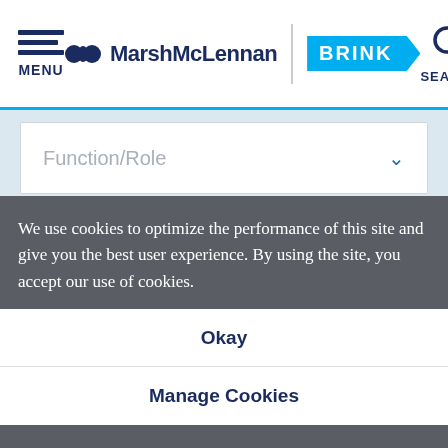MENU | MarshMcLennan BRINK | SEARCH
Function/Role
Industry
SUBSCRIBE
We use cookies to optimize the performance of this site and give you the best user experience. By using the site, you accept our use of cookies.
Okay
Manage Cookies